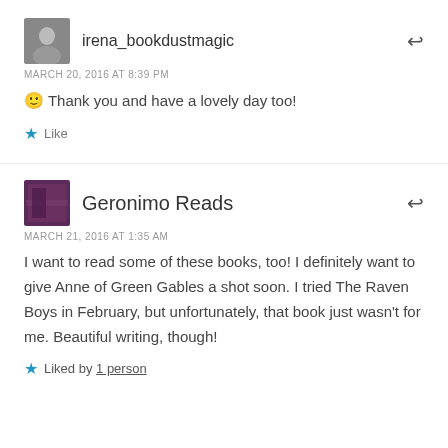irena_bookdustmagic
MARCH 20, 2016 AT 8:39 PM
🙂 Thank you and have a lovely day too!
Like
Geronimo Reads
MARCH 21, 2016 AT 1:35 AM
I want to read some of these books, too! I definitely want to give Anne of Green Gables a shot soon. I tried The Raven Boys in February, but unfortunately, that book just wasn't for me. Beautiful writing, though!
Liked by 1 person